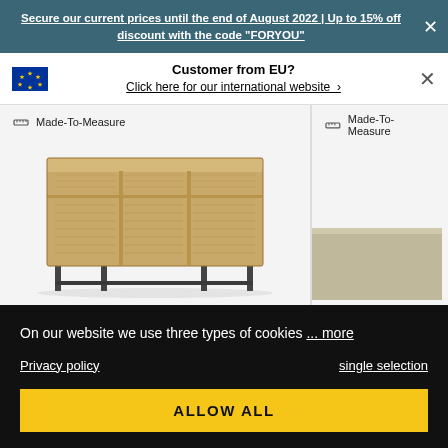Secure our current prices until the end of August 2022 | Up to 15% off discount with the code "FORYOU"
Customer from EU?
Click here for our international website →
[Figure (photo): Wooden sideboard/TV unit with three compartments on black metal legs, light oak finish, Made-To-Measure label]
[Figure (photo): Partially visible second furniture piece in a light grey/beige finish, Made-To-Measure label]
On our website we use three types of cookies ... more
Privacy policy    single selection
ALLOW ALL